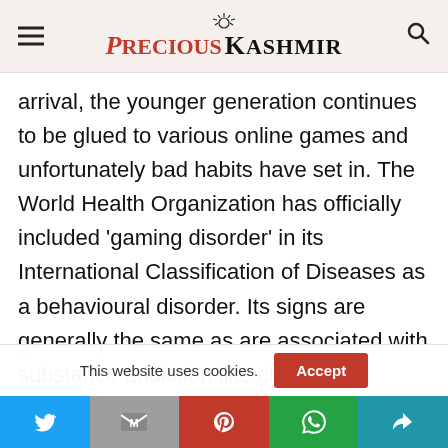Precious Kashmir
arrival, the younger generation continues to be glued to various online games and unfortunately bad habits have set in. The World Health Organization has officially included ‘gaming disorder’ in its International Classification of Diseases as a behavioural disorder. Its signs are generally the same as are associated with substance addiction like changes in behaviour, adverse effect on social life and relationships, excessive preoccupation with video games, and
This website uses cookies.
Social share bar: Twitter, Gmail, Pinterest, WhatsApp, Share